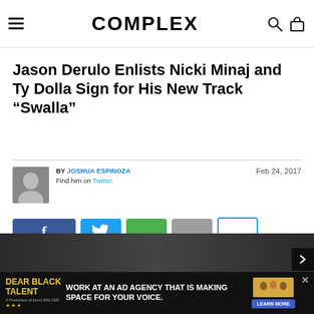COMPLEX
Jason Derulo Enlists Nicki Minaj and Ty Dolla Sign for His New Track “Swalla”
BY JOSHUA ESPINOZA
Find him on Twitter.
Feb 24, 2017
[Figure (screenshot): Social share buttons: Facebook (blue), Twitter (light blue), green button, gray button, outlined button]
[Figure (photo): Bottom portion of article page with dark image strip]
[Figure (infographic): Advertisement banner: Dear Black Talent - Work at an ad agency that is making space for your voice. Learn More.]